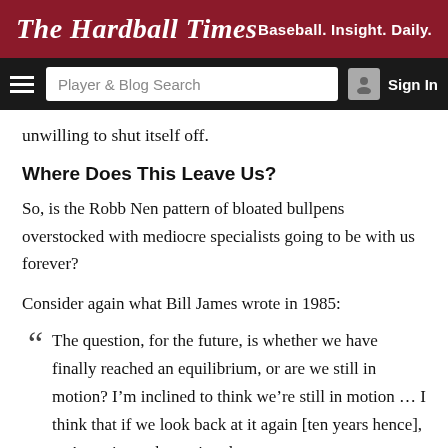The Hardball Times | Baseball. Insight. Daily.
unwilling to shut itself off.
Where Does This Leave Us?
So, is the Robb Nen pattern of bloated bullpens overstocked with mediocre specialists going to be with us forever?
Consider again what Bill James wrote in 1985:
“The question, for the future, is whether we have finally reached an equilibrium, or are we still in motion? I’m inclined to think we’re still in motion … I think that if we look back at it again [ten years hence], we’re going to be saying the same